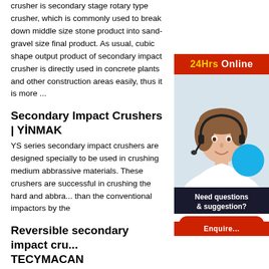crusher is secondary stage rotary type crusher, which is commonly used to break down middle size stone product into sand-gravel size final product. As usual, cubic shape output product of secondary impact crusher is directly used in concrete plants and other construction areas easily, thus it is more ...
Secondary Impact Crushers | YİNMAK
YS series secondary impact crushers are designed specially to be used in crushing medium abbrassive materials. These crushers are successful in crushing the hard and abbra... than the conventional impactors by the
Reversible secondary impact cru... TECYMACAN
The secondary impact crushers are mach... reduction capacity and a high production... materials (silica, quartzite, ophites, granit... from the extraction or from primary crush...
[Figure (photo): Chat widget showing a customer service agent wearing a headset, with a '24Hrs Online' red banner, a blue circle graphic, 'Need questions & suggestion?' text, a 'Chat Now' red button, and an 'Enquire' red bar at the bottom.]